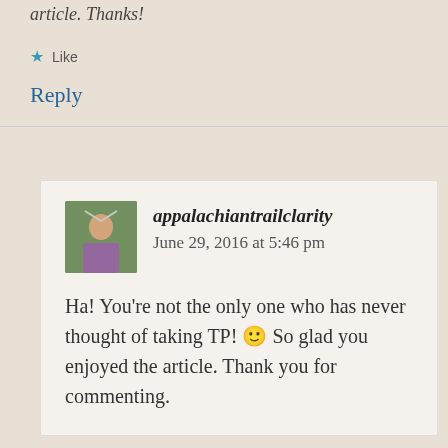article. Thanks!
★ Like
Reply
appalachiantrailclarity  June 29, 2016 at 5:46 pm
Ha! You're not the only one who has never thought of taking TP! 🙂 So glad you enjoyed the article. Thank you for commenting.